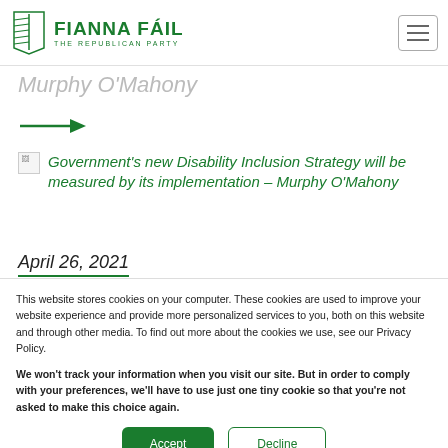FIANNA FÁIL – THE REPUBLICAN PARTY
Murphy O'Mahony
[Figure (other): Green arrow pointing right]
[Figure (other): Broken image icon followed by article link: Government's new Disability Inclusion Strategy will be measured by its implementation – Murphy O'Mahony]
April 26, 2021
This website stores cookies on your computer. These cookies are used to improve your website experience and provide more personalized services to you, both on this website and through other media. To find out more about the cookies we use, see our Privacy Policy.
We won't track your information when you visit our site. But in order to comply with your preferences, we'll have to use just one tiny cookie so that you're not asked to make this choice again.